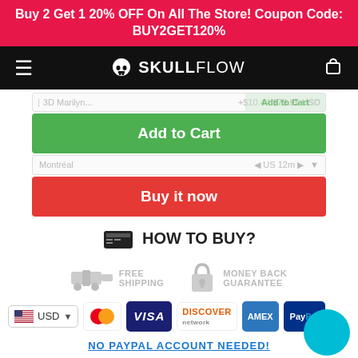Buy 2 Get 1 20% OFF On All The Store! Coupon Code: BUY2GET120%
[Figure (logo): SkullFlow website navigation bar with hamburger menu, skull logo, and cart icon]
30 Marilyn... +$40.44 $79.95 USD Add to Cart
Add to Cart
Montréal US 12m
Buy it now
HOW TO BUY?
[Figure (infographic): Free Shipping truck icon and Money Back Guarantee lock icon badges]
[Figure (infographic): Payment method logos: Mastercard, VISA, DISCOVER, American Express, PayPal. Currency selector showing USD with US flag.]
NO PAYPAL ACCOUNT NEEDED!